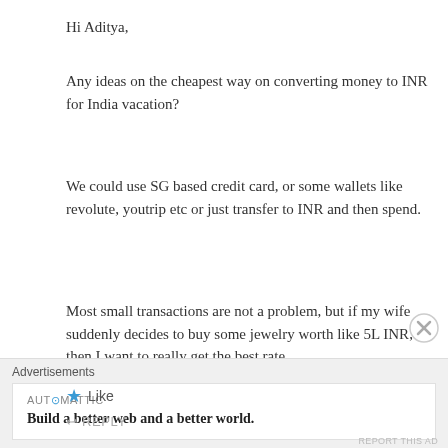Hi Aditya,
Any ideas on the cheapest way on converting money to INR for India vacation?
We could use SG based credit card, or some wallets like revolute, youtrip etc or just transfer to INR and then spend.
Most small transactions are not a problem, but if my wife suddenly decides to buy some jewelry worth like 5L INR, then I want to really get the best rate.
Like
REPLY
Advertisements
AUT⊙MATTIC
Build a better web and a better world.